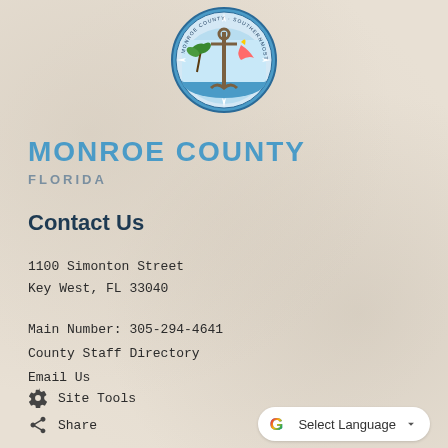[Figure (logo): Monroe County Florida circular seal/coat of arms featuring a lighthouse, palm tree, sailfish, anchor, compass rose with colorful design in blue border]
MONROE COUNTY
FLORIDA
Contact Us
1100 Simonton Street
Key West, FL 33040
Main Number: 305-294-4641
County Staff Directory
Email Us
Site Tools
Share
Select Language